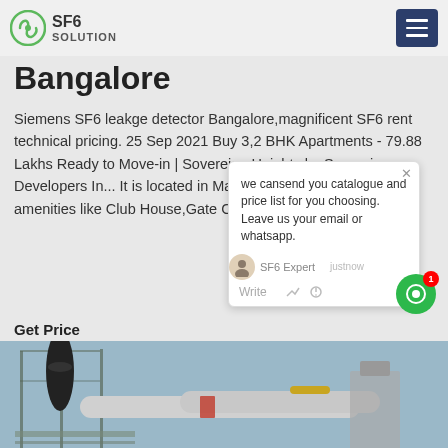SF6 SOLUTION
Bangalore
Siemens SF6 leakge detector Bangalore,magnificent SF6 rent technical pricing. 25 Sep 2021 Buy 3,2 BHK Apartments - 79.88 Lakhs Ready to Move-in | Sovereign Heights by Sovereign Developers In... It is located in Mathikere, Bangalore and amenities like Club House,Gate Community,Gym...
Get Price
[Figure (photo): Industrial electrical substation with large pipes, cables, and equipment including transformers and switchgear.]